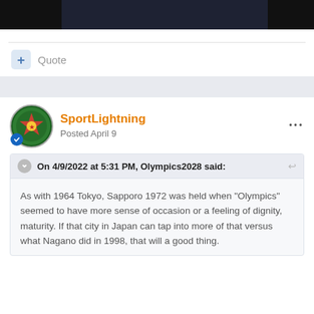[Figure (screenshot): Dark banner/header bar at top of forum page]
+ Quote
SportLightning
Posted April 9
On 4/9/2022 at 5:31 PM, Olympics2028 said:
As with 1964 Tokyo, Sapporo 1972 was held when "Olympics" seemed to have more sense of occasion or a feeling of dignity, maturity. If that city in Japan can tap into more of that versus what Nagano did in 1998, that will a good thing.